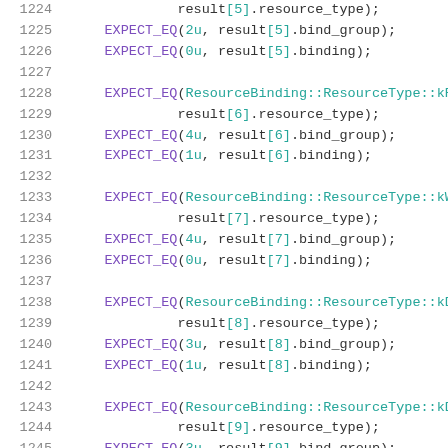Code listing lines 1224-1245, C++ unit test code with EXPECT_EQ calls checking resource_type, bind_group, and binding fields on result array elements.